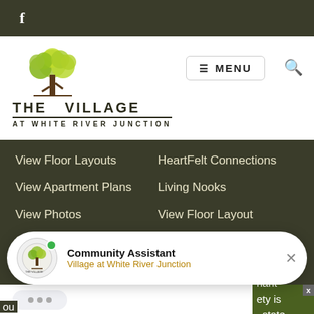f
[Figure (logo): The Village at White River Junction logo with illustrated tree above text]
[Figure (screenshot): MENU button and search icon]
View Floor Layouts
HeartFelt Connections
View Apartment Plans
Living Nooks
View Photos
View Floor Layout
Schedule A Visit
View Room Layout
Plans & Pricing
View Photos
[Figure (screenshot): Community Assistant chat popup with Village at White River Junction logo and green online dot]
Community Assistant
Village at White River Junction
[Figure (screenshot): Typing indicator bubble with three dots, partial text visible on right: riant, ety is, state]